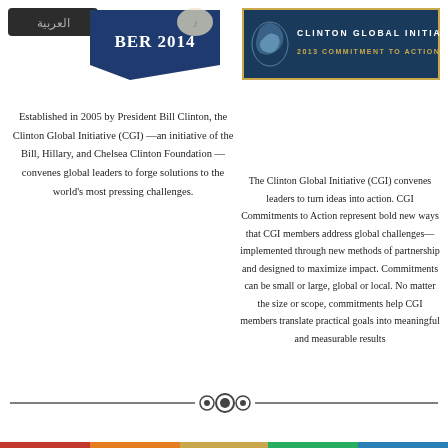[Figure (illustration): Top-left area showing Arabic badge label and a blue ribbon/banner with text 'BER 2014']
[Figure (logo): Clinton Global Initiative 2013 Commitment to Action banner with eagle logo on dark blue background with gold border]
Established in 2005 by President Bill Clinton, the Clinton Global Initiative (CGI) —an initiative of the Bill, Hillary, and Chelsea Clinton Foundation —convenes global leaders to forge solutions to the world's most pressing challenges.
The Clinton Global Initiative (CGI) convenes leaders to turn ideas into action. CGI Commitments to Action represent bold new ways that CGI members address global challenges—implemented through new methods of partnership and designed to maximize impact. Commitments can be small or large, global or local. No matter the size or scope, commitments help CGI members translate practical goals into meaningful and measurable results